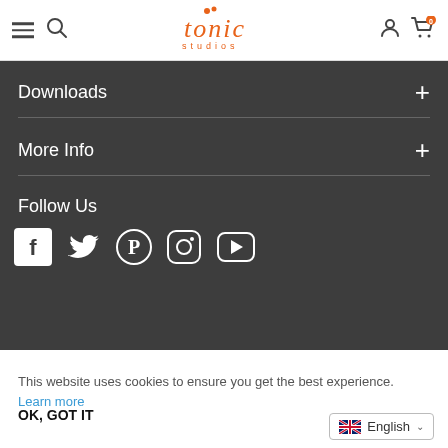[Figure (logo): Tonic Studios logo with orange stylized text and dots]
Downloads +
More Info +
Follow Us
[Figure (infographic): Social media icons: Facebook, Twitter, Pinterest, Instagram, YouTube]
This website uses cookies to ensure you get the best experience. Learn more
OK, GOT IT
English